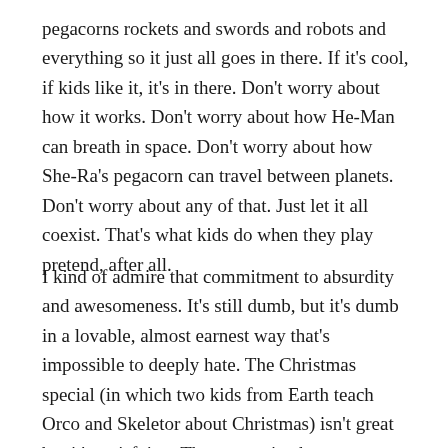pegacorns rockets and swords and robots and everything so it just all goes in there. If it's cool, if kids like it, it's in there. Don't worry about how it works. Don't worry about how He-Man can breath in space. Don't worry about how She-Ra's pegacorn can travel between planets. Don't worry about any of that. Just let it all coexist. That's what kids do when they play pretend, after all.
I kind of admire that commitment to absurdity and awesomeness. It's still dumb, but it's dumb in a lovable, almost earnest way that's impossible to deeply hate. The Christmas special (in which two kids from Earth teach Orco and Skeletor about Christmas) isn't great but it's satisfying. The two main characters team up, share screen time, and defeat a slew of robot monsters, Hordak, and Skeletor. I